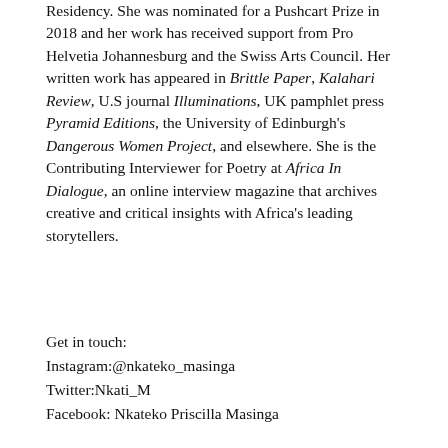Residency. She was nominated for a Pushcart Prize in 2018 and her work has received support from Pro Helvetia Johannesburg and the Swiss Arts Council. Her written work has appeared in Brittle Paper, Kalahari Review, U.S journal Illuminations, UK pamphlet press Pyramid Editions, the University of Edinburgh's Dangerous Women Project, and elsewhere. She is the Contributing Interviewer for Poetry at Africa In Dialogue, an online interview magazine that archives creative and critical insights with Africa's leading storytellers.
Get in touch:
Instagram:@nkateko_masinga
Twitter:Nkati_M
Facebook: Nkateko Priscilla Masinga